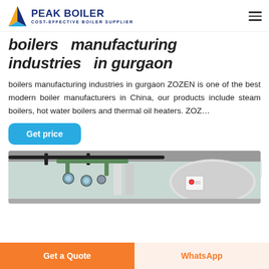PEAK BOILER COST-EFFECTIVE BOILER SUPPLIER
boilers manufacturing industries in gurgaon
boilers manufacturing industries in gurgaon ZOZEN is one of the best modern boiler manufacturers in China, our products include steam boilers, hot water boilers and thermal oil heaters. ZOZ...
Get price
[Figure (photo): Industrial boiler equipment with pipes, valves, and cylindrical tank in a facility]
Get a Quote
WhatsApp